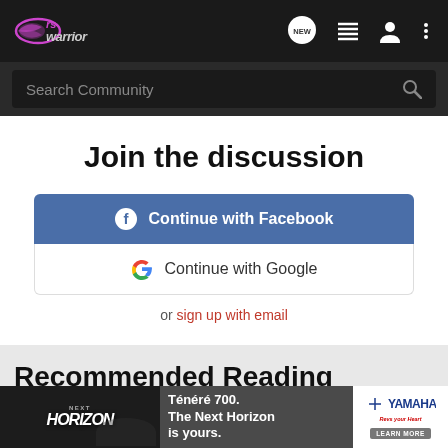[Figure (logo): RS Warrior forum logo with pink/magenta wings graphic on dark background]
Search Community
Join the discussion
Continue with Facebook
Continue with Google
or sign up with email
Recommended Reading
New F
[Figure (photo): Yamaha Tenere 700 advertisement banner: Next Horizon motorcycle ad with text 'Tenere 700. The Next Horizon is yours.' and LEARN MORE button]